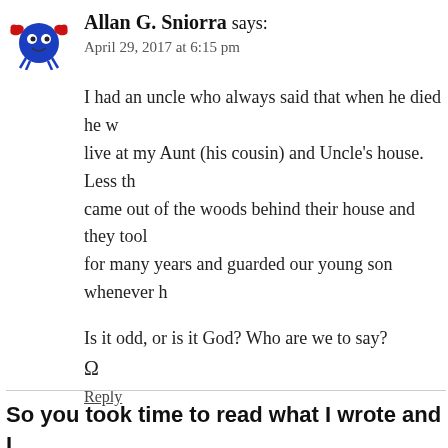[Figure (illustration): Cartoon avatar of a blue crab-like creature with red claws and googly eyes on a white background]
Allan G. Sniorra says:
April 29, 2017 at 6:15 pm
I had an uncle who always said that when he died he w... live at my Aunt (his cousin) and Uncle's house. Less th... came out of the woods behind their house and they tool... for many years and guarded our young son whenever h...
Is it odd, or is it God? Who are we to say?
Ω
Reply
So you took time to read what I wrote and I... comments are even better!
Your email address will not be published. Required fields are m...